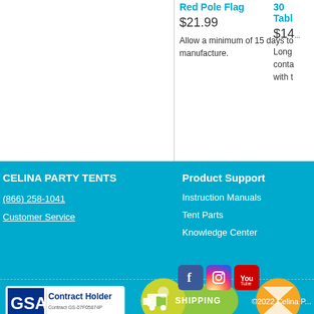Red Pole Flag
$21.99
Allow a minimum of 15 days to manufacture.
30... Tabl...
$14...
Long... conta... with t...
CELINA PARTY TENTS
(866) 258-1041
Customer Service
Product Support
Instruction Manuals
Tent Parts
Knowledge Center
[Figure (logo): GSA Contract Holder logo with text 'Contract GS-07F05874P']
[Figure (infographic): Green shipping badge with truck icon and 'SHIPPING' text]
[Figure (infographic): Orange hourglass badge (partially visible)]
[Figure (logo): Social media icons: Facebook, Instagram, YouTube]
©2022 Celina P...